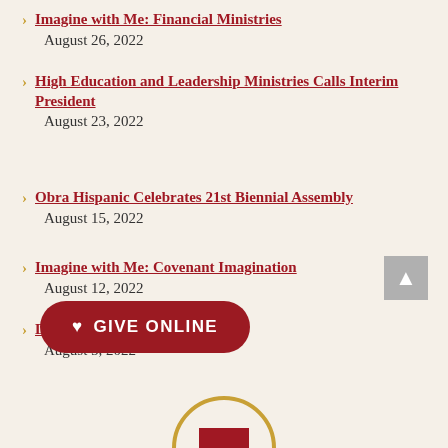Imagine with Me: Financial Ministries
August 26, 2022
High Education and Leadership Ministries Calls Interim President
August 23, 2022
Obra Hispanic Celebrates 21st Biennial Assembly
August 15, 2022
Imagine with Me: Covenant Imagination
August 12, 2022
Dear Disciples: August 5, 2022
August 5, 2022